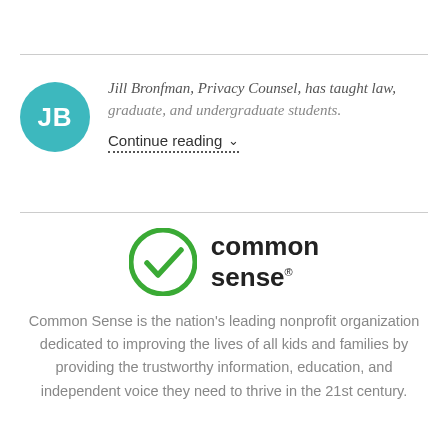Jill Bronfman, Privacy Counsel, has taught law, graduate, and undergraduate students.
Continue reading ∨
[Figure (logo): Common Sense logo: green circle with a checkmark and the text 'common sense' with registered trademark symbol]
Common Sense is the nation's leading nonprofit organization dedicated to improving the lives of all kids and families by providing the trustworthy information, education, and independent voice they need to thrive in the 21st century.